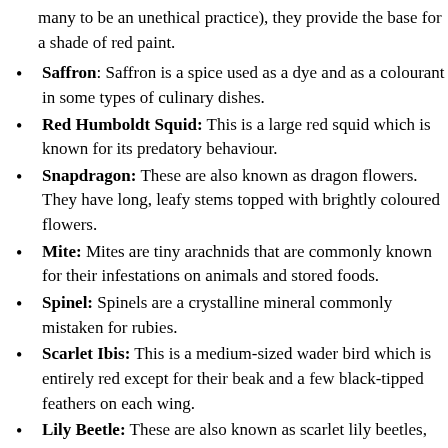many to be an unethical practice), they provide the base for a shade of red paint.
Saffron: Saffron is a spice used as a dye and as a colourant in some types of culinary dishes.
Red Humboldt Squid: This is a large red squid which is known for its predatory behaviour.
Snapdragon: These are also known as dragon flowers. They have long, leafy stems topped with brightly coloured flowers.
Mite: Mites are tiny arachnids that are commonly known for their infestations on animals and stored foods.
Spinel: Spinels are a crystalline mineral commonly mistaken for rubies.
Scarlet Ibis: This is a medium-sized wader bird which is entirely red except for their beak and a few black-tipped feathers on each wing.
Lily Beetle: These are also known as scarlet lily beetles, red lily beetles and lily leaf beetles. They're entirely red